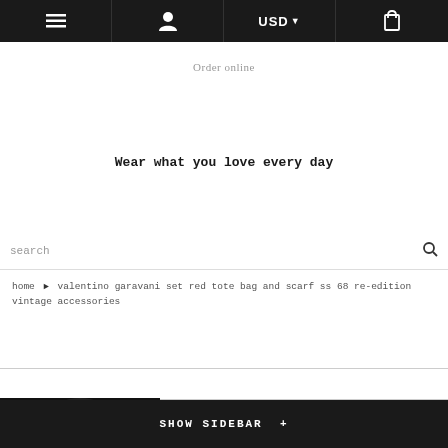☰  [user icon]  USD ▼  [bag icon]
Order online
Wear what you love every day
search
home › valentino garavani set red tote bag and scarf ss 68 re-edition vintage accessories
SHOW SIDEBAR +